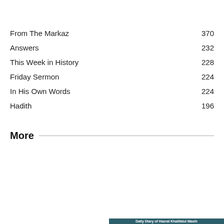From The Markaz   370
Answers   232
This Week in History   228
Friday Sermon   224
In His Own Words   224
Hadith   196
More
Daily Diary of Hazrat Khalifatul Masih